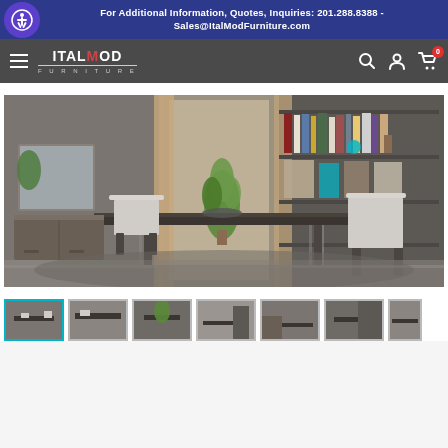For Additional Information, Quotes, Inquiries: 201.288.8388 - Sales@ItalModFurniture.com
[Figure (logo): ItalMod Furniture logo with hamburger menu and nav icons (search, account, cart with 0 badge)]
[Figure (photo): Modern dining room with a large dark glossy table, light grey upholstered chairs, bookcase wall unit, sideboard, and indoor plants in a contemporary interior]
[Figure (photo): Thumbnail strip of 7 product images, first one highlighted with teal border]